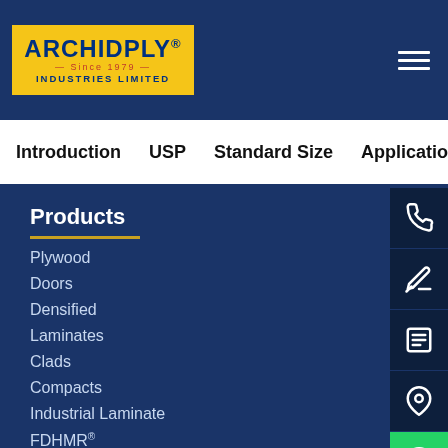[Figure (logo): Archidply Industries Limited logo — yellow background with blue text, 'Since 1979' in red]
Introduction   USP   Standard Size   Application
Products
Plywood
Doors
Densified
Laminates
Clads
Compacts
Industrial Laminate
FDHMR®